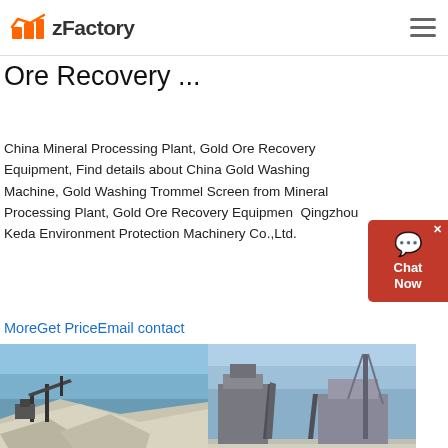zFactory
Ore Recovery ...
China Mineral Processing Plant, Gold Ore Recovery Equipment, Find details about China Gold Washing Machine, Gold Washing Trommel Screen from Mineral Processing Plant, Gold Ore Recovery Equipment - Qingzhou Keda Environment Protection Machinery Co.,Ltd.
MoreGet PriceEmail contact
[Figure (photo): Two side-by-side photos of mineral/ore processing plant equipment — conveyor belts and aggregate piles outdoors under blue sky]
Ore washing machine,mineral washing machine - Mineral ...
2020-6-3   Log Washer Brief Introduction of Log Washer. Log washer is designed for washing plastic heavy clay which is difficult to